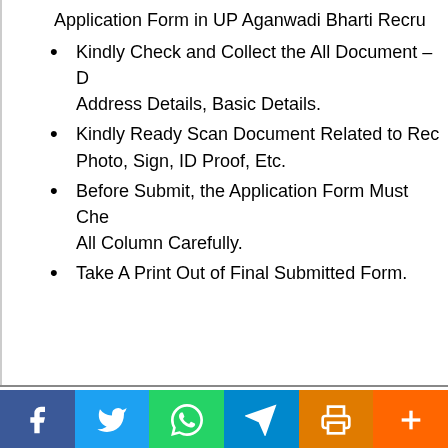Application Form in UP Aganwadi Bharti Recru...
Kindly Check and Collect the All Document – ... Address Details, Basic Details.
Kindly Ready Scan Document Related to Rec... Photo, Sign, ID Proof, Etc.
Before Submit, the Application Form Must Che... All Column Carefully.
Take A Print Out of Final Submitted Form.
Interested Candidates Must Read the Notifica... Online